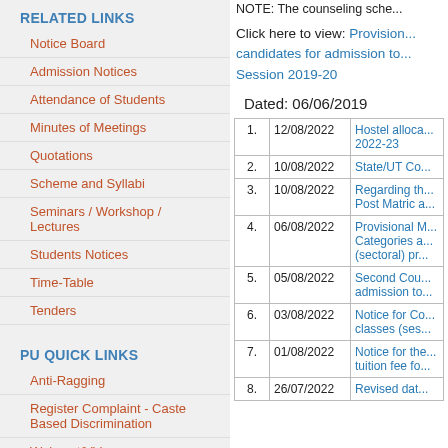RELATED LINKS
Notice Board
Admission Notices
Attendance of Students
Minutes of Meetings
Quotations
Scheme and Syllabi
Seminars / Workshop / Lectures
Students Notices
Time-Table
Tenders
PU QUICK LINKS
Anti-Ragging
Register Complaint - Caste Based Discrimination
Webcast/Videos
University Events
PU Committee Against Sexual Harassment (PUCASH)
NOTE: The counseling sche...
Click here to view: Provision... candidates for admission to... Session 2019-20
Dated: 06/06/2019
|  | Date | Notice |
| --- | --- | --- |
| 1. | 12/08/2022 | Hostel alloca... 2022-23 |
| 2. | 10/08/2022 | State/UT Co... |
| 3. | 10/08/2022 | Regarding th... Post Matric a... |
| 4. | 06/08/2022 | Provisional M... Categories a... (sectoral) pr... |
| 5. | 05/08/2022 | Second Cou... admission to... |
| 6. | 03/08/2022 | Notice for Co... classes (ses... |
| 7. | 01/08/2022 | Notice for the... tuition fee fo... |
| 8. | 26/07/2022 | Revised dat... |